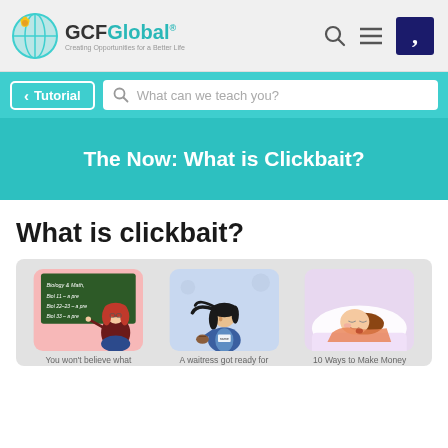GCFGlobal — Creating Opportunities for a Better Life
< Tutorial | What can we teach you?
The Now: What is Clickbait?
What is clickbait?
[Figure (illustration): Three illustrated clickbait thumbnail images side by side: a teacher at a chalkboard, a waitress, and a person in bed. Captions: 'You won't believe what', 'A waitress got ready for', '10 Ways to Make Money']
You won't believe what   A waitress got ready for   10 Ways to Make Money